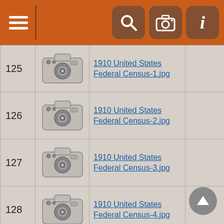Navigation bar with hamburger menu, search, camera, and info icons
| # | Image | Filename |  |
| --- | --- | --- | --- |
| 125 | [camera icon] | 1910 United States Federal Census-1.jpg |  |
| 126 | [camera icon] | 1910 United States Federal Census-2.jpg |  |
| 127 | [camera icon] | 1910 United States Federal Census-3.jpg |  |
| 128 | [camera icon] | 1910 United States Federal Census-4.jpg |  |
| 129 | [camera icon] | 1910 United States Federal Census-5.jpg |  |
| 130 | [camera icon] | 1910 United States Federal Census-6.jpg |  |
| 131 | [camera icon] | 1910 United States Federal Census-7.jpg |  |